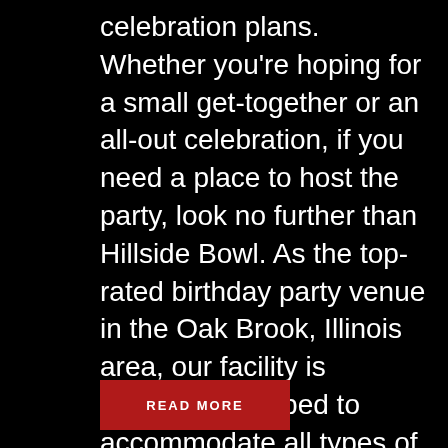celebration plans. Whether you're hoping for a small get-together or an all-out celebration, if you need a place to host the party, look no further than Hillside Bowl. As the top-rated birthday party venue in the Oak Brook, Illinois area, our facility is perfectly equipped to accommodate all types of celebrations. With a variety of activities to partake in, we are sure to have something for everyone to enjoy. Read below to learn about what's available.
READ MORE